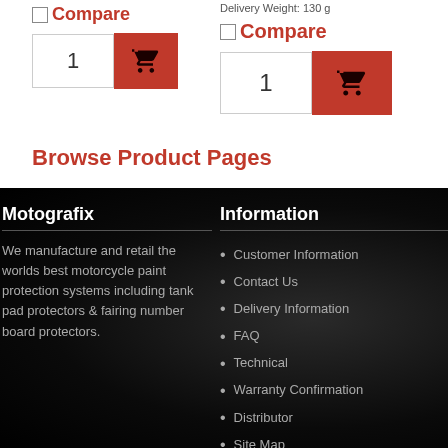Compare
1
Delivery Weight: 130 g
Compare
1
Browse Product Pages
Motografix
We manufacture and retail the worlds best motorcycle paint protection systems including tank pad protectors & fairing number board protectors.
Information
Customer Information
Contact Us
Delivery Information
FAQ
Technical
Warranty Confirmation
Distributor
Site Map